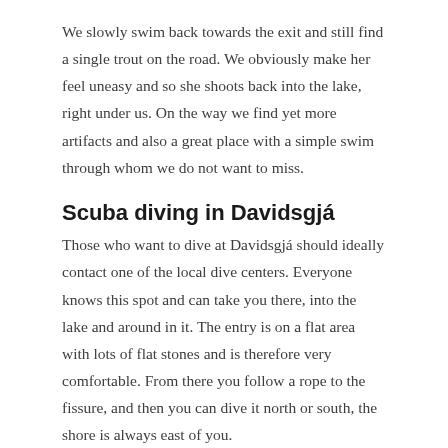We slowly swim back towards the exit and still find a single trout on the road. We obviously make her feel uneasy and so she shoots back into the lake, right under us. On the way we find yet more artifacts and also a great place with a simple swim through whom we do not want to miss.
Scuba diving in Davidsgjá
Those who want to dive at Davidsgjá should ideally contact one of the local dive centers. Everyone knows this spot and can take you there, into the lake and around in it. The entry is on a flat area with lots of flat stones and is therefore very comfortable. From there you follow a rope to the fissure, and then you can dive it north or south, the shore is always east of you.